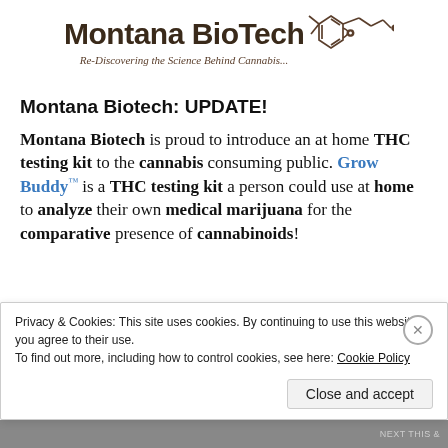[Figure (logo): Montana BioTech logo with chemical structure diagram and registered trademark symbol, with tagline 'Re-Discovering the Science Behind Cannabis...']
Montana Biotech: UPDATE!
Montana Biotech is proud to introduce an at home THC testing kit to the cannabis consuming public. Grow Buddy™ is a THC testing kit a person could use at home to analyze their own medical marijuana for the comparative presence of cannabinoids!
Privacy & Cookies: This site uses cookies. By continuing to use this website, you agree to their use.
To find out more, including how to control cookies, see here: Cookie Policy
Close and accept